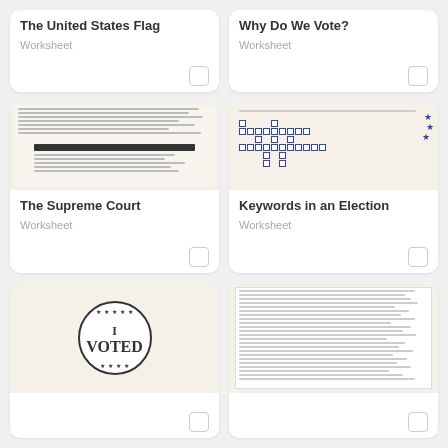[Figure (other): Card: The United States Flag worksheet with no preview image]
The United States Flag
Worksheet
[Figure (other): Card: Why Do We Vote? worksheet with no preview image]
Why Do We Vote?
Worksheet
[Figure (other): Card: The Supreme Court worksheet with document preview thumbnail]
The Supreme Court
Worksheet
[Figure (other): Card: Keywords in an Election worksheet with crossword puzzle preview thumbnail]
Keywords in an Election
Worksheet
[Figure (other): Card: I Voted worksheet with circular badge preview thumbnail]
[Figure (other): Card: (partial, document preview visible) worksheet]